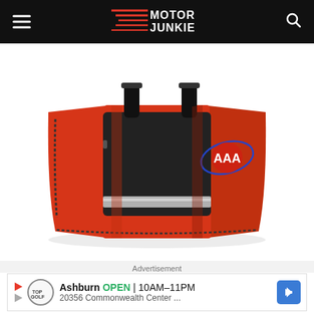Motor Junkie
[Figure (photo): Red and black AAA roadside emergency kit bag with black handles, AAA logo on front, reflective silver stripe, and zipper closure on white background]
Advertisement
Ashburn OPEN 10AM–11PM 20356 Commonwealth Center ...